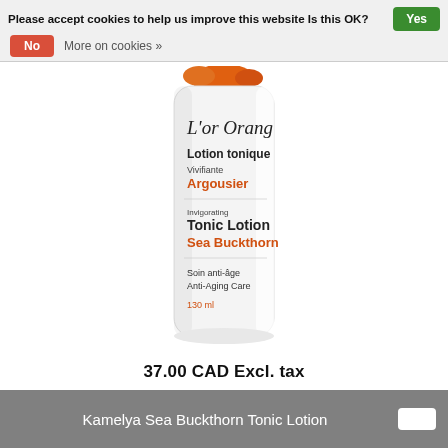Please accept cookies to help us improve this website Is this OK? Yes
No  More on cookies »
[Figure (photo): Product photo of L'or Orange Invigorating Tonic Lotion Sea Buckthorn bottle, 130ml, Anti-Aging Care, white cylindrical bottle with orange accents]
37.00 CAD Excl. tax
Kamelya Sea Buckthorn Tonic Lotion